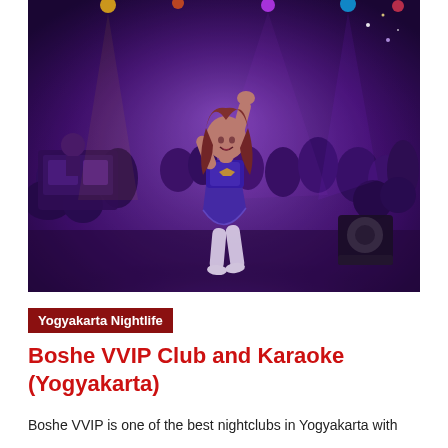[Figure (photo): Nightclub scene with a woman in purple outfit dancing with arm raised, surrounded by crowd and stage lighting]
Yogyakarta Nightlife
Boshe VVIP Club and Karaoke (Yogyakarta)
Boshe VVIP is one of the best nightclubs in Yogyakarta with